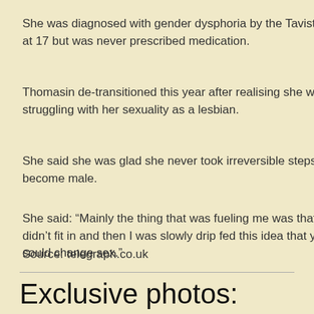She was diagnosed with gender dysphoria by the Tavistock at 17 but was never prescribed medication.
Thomasin de-transitioned this year after realising she was struggling with her sexuality as a lesbian.
She said she was glad she never took irreversible steps to become male.
She said: “Mainly the thing that was fueling me was that I didn’t fit in and then I was slowly drip fed this idea that you could change sex.”
Source: telegraph.co.uk
Exclusive photos: Witness